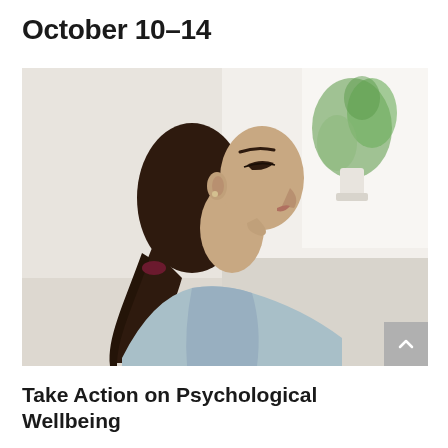October 10–14
[Figure (photo): A young woman with dark hair in a ponytail, sitting in profile with eyes closed in a relaxed, meditative pose wearing a light blue top. A blurred green plant and bright window are visible in the background.]
Take Action on Psychological Wellbeing